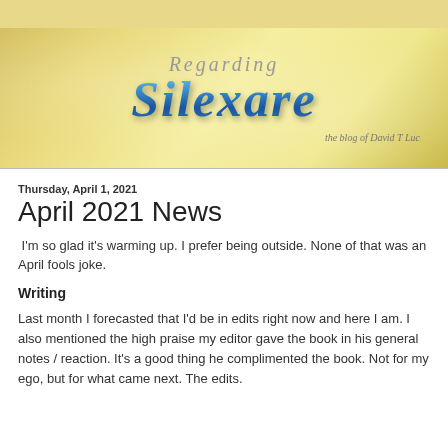[Figure (illustration): Blog header banner with golden/yellow gradient background, text 'Regarding' in grey italic serif, 'Silexare' in large blue metallic decorative font, and subtitle 'the blog of David T Luc' in small italic text bottom right]
Thursday, April 1, 2021
April 2021 News
I'm so glad it's warming up. I prefer being outside. None of that was an April fools joke.
Writing
Last month I forecasted that I'd be in edits right now and here I am. I also mentioned the high praise my editor gave the book in his general notes / reaction. It's a good thing he complimented the book. Not for my ego, but for what came next. The edits.